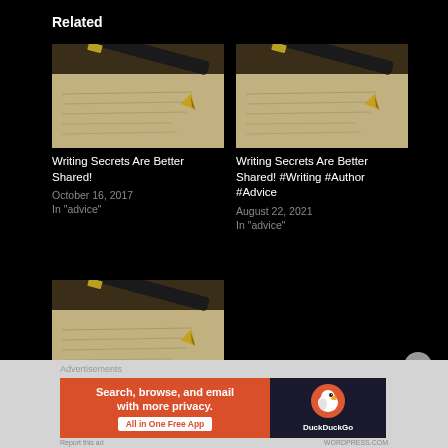Related
[Figure (photo): Fountain pen resting on handwritten paper, sepia/warm toned]
Writing Secrets Are Better Shared!
October 16, 2017
In "advice"
[Figure (photo): Fountain pen resting on handwritten paper, sepia/warm toned]
Writing Secrets Are Better Shared! #Writing #Author #Advice
August 22, 2021
In "advice"
[Figure (photo): Fountain pen resting on handwritten paper, sepia/warm toned]
Writing Secrets Are Better Shared! #Writing #Author
Advertisements
[Figure (other): DuckDuckGo advertisement banner: Search, browse, and email with more privacy. All in One Free App.]